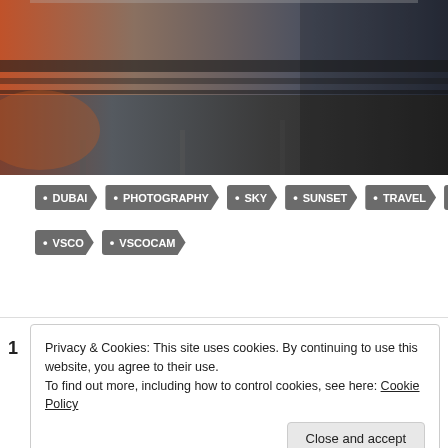[Figure (photo): A photograph of a road or highway scene with warm orange/sunset tones on the left and dark tones on the right, taken in Dubai/UAE area.]
• DUBAI
• PHOTOGRAPHY
• SKY
• SUNSET
• TRAVEL
• UAE
• VSCO
• VSCOCAM
Privacy & Cookies: This site uses cookies. By continuing to use this website, you agree to their use. To find out more, including how to control cookies, see here: Cookie Policy
Close and accept